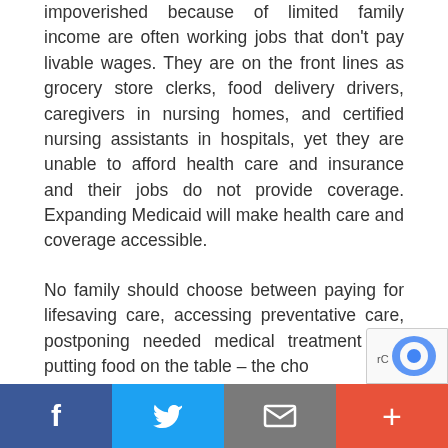impoverished because of limited family income are often working jobs that don't pay livable wages. They are on the front lines as grocery store clerks, food delivery drivers, caregivers in nursing homes, and certified nursing assistants in hospitals, yet they are unable to afford health care and insurance and their jobs do not provide coverage. Expanding Medicaid will make health care and coverage accessible.
No family should choose between paying for lifesaving care, accessing preventative care, postponing needed medical treatment and putting food on the table – the cho...
[Figure (other): Social sharing bar with Facebook, Twitter, Email, and Plus buttons at the bottom of the page]